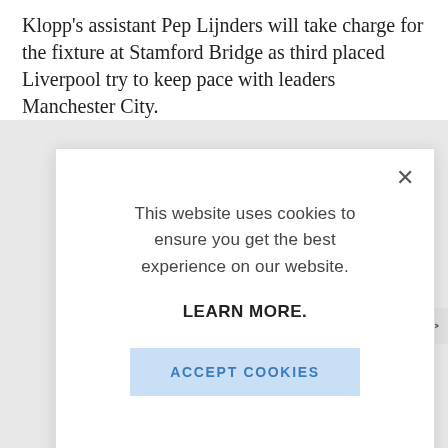Klopp's assistant Pep Lijnders will take charge for the fixture at Stamford Bridge as third placed Liverpool try to keep pace with leaders Manchester City.
[Figure (screenshot): Cookie consent modal dialog with close button (×), message 'This website uses cookies to ensure you get the best experience on our website.', bold text 'LEARN MORE.', and a blue 'ACCEPT COOKIES' button.]